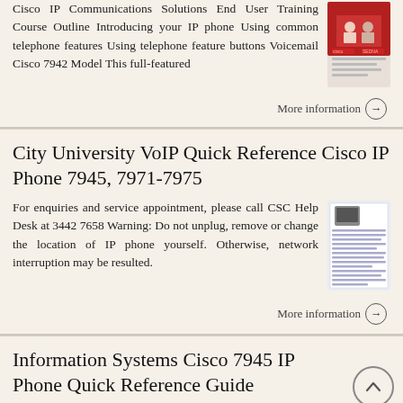Cisco IP Communications Solutions End User Training Course Outline Introducing your IP phone Using common telephone features Using telephone feature buttons Voicemail Cisco 7942 Model This full-featured
More information →
City University VoIP Quick Reference Cisco IP Phone 7945, 7971-7975
For enquiries and service appointment, please call CSC Help Desk at 3442 7658 Warning: Do not unplug, remove or change the location of IP phone yourself. Otherwise, network interruption may be resulted.
More information →
Information Systems Cisco 7945 IP Phone Quick Reference Guide